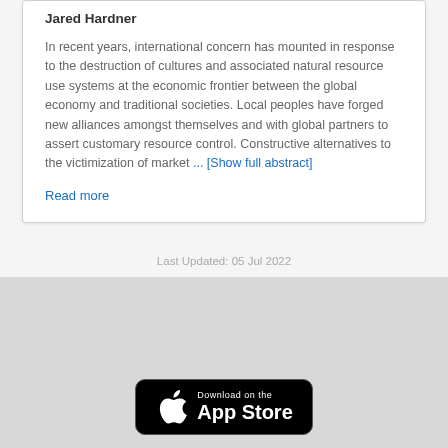Jared Hardner
In recent years, international concern has mounted in response to the destruction of cultures and associated natural resource use systems at the economic frontier between the global economy and traditional societies. Local peoples have forged new alliances amongst themselves and with global partners to assert customary resource control. Constructive alternatives to the victimization of market ... [Show full abstract]
Read more
Last Updated: 05 Jul 2022
[Figure (logo): Download on the App Store badge — black rounded rectangle with Apple logo and text 'Download on the App Store']